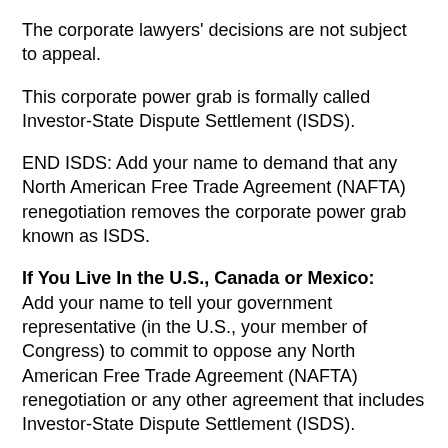The corporate lawyers' decisions are not subject to appeal.
This corporate power grab is formally called Investor-State Dispute Settlement (ISDS).
END ISDS: Add your name to demand that any North American Free Trade Agreement (NAFTA) renegotiation removes the corporate power grab known as ISDS.
If You Live In the U.S., Canada or Mexico: Add your name to tell your government representative (in the U.S., your member of Congress) to commit to oppose any North American Free Trade Agreement (NAFTA) renegotiation or any other agreement that includes Investor-State Dispute Settlement (ISDS).